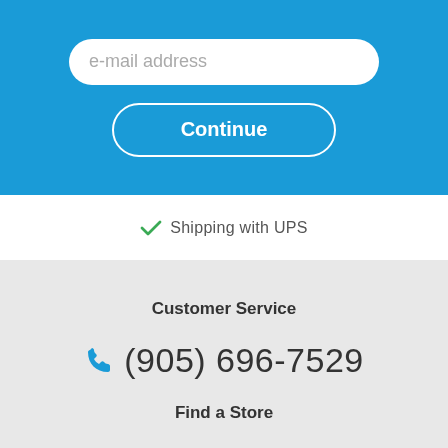[Figure (screenshot): Email address input field with rounded corners on blue background]
[Figure (screenshot): Continue button with white border on blue background]
Shipping with UPS
Customer Service
(905) 696-7529
Find a Store